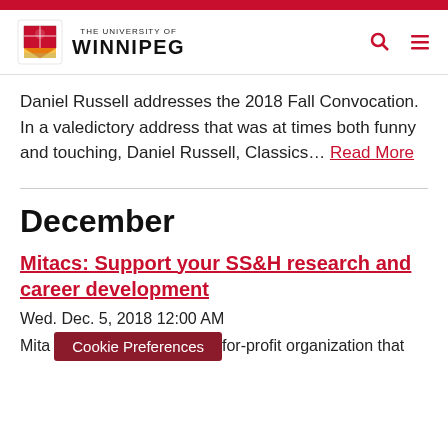The University of Winnipeg
Daniel Russell addresses the 2018 Fall Convocation. In a valedictory address that was at times both funny and touching, Daniel Russell, Classics... Read More
December
Mitacs: Support your SS&H research and career development
Wed. Dec. 5, 2018 12:00 AM
Mita... for-profit organization that
Cookie Preferences